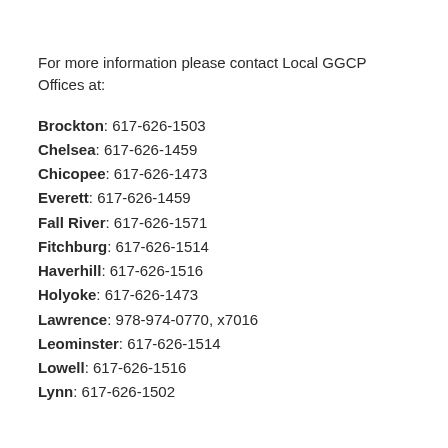For more information please contact Local GGCP Offices at:
Brockton: 617-626-1503
Chelsea: 617-626-1459
Chicopee: 617-626-1473
Everett: 617-626-1459
Fall River: 617-626-1571
Fitchburg: 617-626-1514
Haverhill: 617-626-1516
Holyoke: 617-626-1473
Lawrence: 978-974-0770, x7016
Leominster: 617-626-1514
Lowell: 617-626-1516
Lynn: 617-626-1502